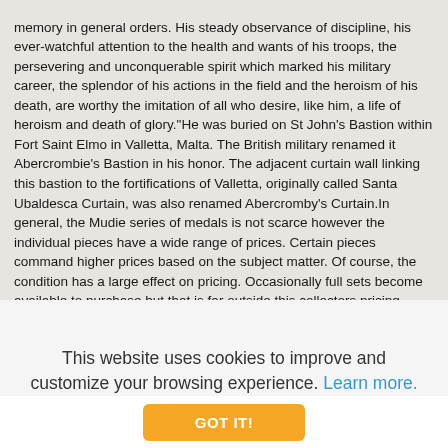memory in general orders. His steady observance of discipline, his ever-watchful attention to the health and wants of his troops, the persevering and unconquerable spirit which marked his military career, the splendor of his actions in the field and the heroism of his death, are worthy the imitation of all who desire, like him, a life of heroism and death of glory."He was buried on St John's Bastion within Fort Saint Elmo in Valletta, Malta. The British military renamed it Abercrombie's Bastion in his honor. The adjacent curtain wall linking this bastion to the fortifications of Valletta, originally called Santa Ubaldesca Curtain, was also renamed Abercromby's Curtain.In general, the Mudie series of medals is not scarce however the individual pieces have a wide range of prices. Certain pieces command higher prices based on the subject matter. Of course, the condition has a large effect on pricing. Occasionally full sets become available to purchase but that is far outside this collectors pricing comfort level. The set in the photo is not mine.Sources:cngcoins.comwikipediahistoricalmedals.com
This website uses cookies to improve and customize your browsing experience. Learn more.
GOT IT!